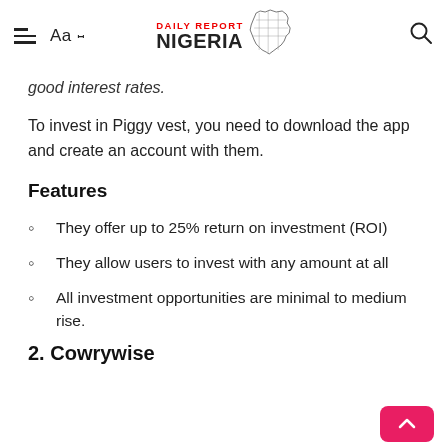Daily Report Nigeria
good interest rates.
To invest in Piggy vest, you need to download the app and create an account with them.
Features
They offer up to 25% return on investment (ROI)
They allow users to invest with any amount at all
All investment opportunities are minimal to medium rise.
2. Cowrywise